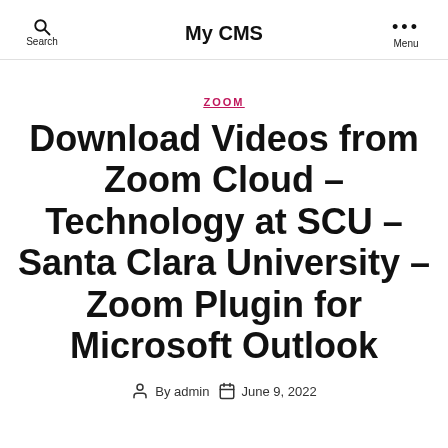My CMS
ZOOM
Download Videos from Zoom Cloud – Technology at SCU – Santa Clara University – Zoom Plugin for Microsoft Outlook
By admin   June 9, 2022